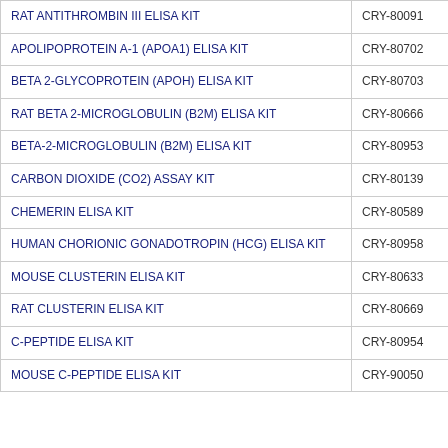| Product Name | Catalog # |
| --- | --- |
| RAT ANTITHROMBIN III ELISA KIT | CRY-80091 |
| APOLIPOPROTEIN A-1 (APOA1) ELISA KIT | CRY-80702 |
| BETA 2-GLYCOPROTEIN (APOH) ELISA KIT | CRY-80703 |
| RAT BETA 2-MICROGLOBULIN (B2M) ELISA KIT | CRY-80666 |
| BETA-2-MICROGLOBULIN (B2M) ELISA KIT | CRY-80953 |
| CARBON DIOXIDE (CO2) ASSAY KIT | CRY-80139 |
| CHEMERIN ELISA KIT | CRY-80589 |
| HUMAN CHORIONIC GONADOTROPIN (HCG) ELISA KIT | CRY-80958 |
| MOUSE CLUSTERIN ELISA KIT | CRY-80633 |
| RAT CLUSTERIN ELISA KIT | CRY-80669 |
| C-PEPTIDE ELISA KIT | CRY-80954 |
| MOUSE C-PEPTIDE ELISA KIT | CRY-90050 |